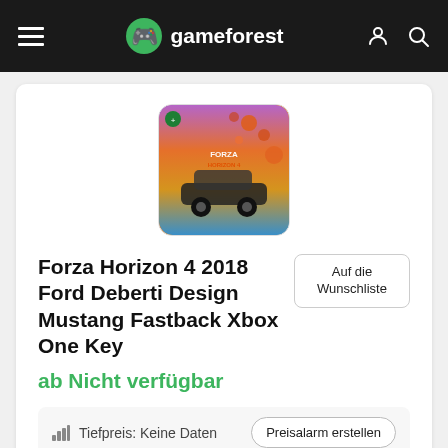gameforest
[Figure (illustration): Forza Horizon 4 game cover art showing a sports car driving through autumn leaves]
Forza Horizon 4 2018 Ford Deberti Design Mustang Fastback Xbox One Key
Auf die Wunschliste
ab Nicht verfügbar
Tiefpreis: Keine Daten
Preisalarm erstellen
Veröffentlicht: 14 Oktober 2020